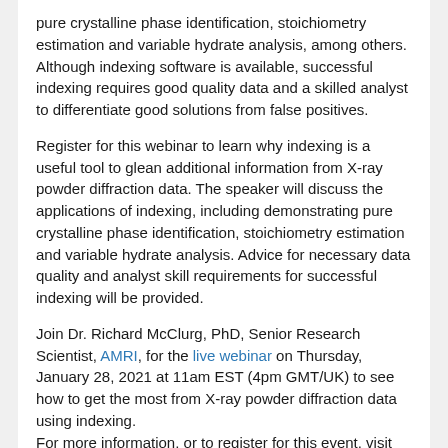pure crystalline phase identification, stoichiometry estimation and variable hydrate analysis, among others. Although indexing software is available, successful indexing requires good quality data and a skilled analyst to differentiate good solutions from false positives.
Register for this webinar to learn why indexing is a useful tool to glean additional information from X-ray powder diffraction data. The speaker will discuss the applications of indexing, including demonstrating pure crystalline phase identification, stoichiometry estimation and variable hydrate analysis. Advice for necessary data quality and analyst skill requirements for successful indexing will be provided.
Join Dr. Richard McClurg, PhD, Senior Research Scientist, AMRI, for the live webinar on Thursday, January 28, 2021 at 11am EST (4pm GMT/UK) to see how to get the most from X-ray powder diffraction data using indexing.
For more information, or to register for this event, visit Get the Most from X-Ray Powder Diffraction Data Using Indexing.
ABOUT XTALKS
Xtalks, powered by Honeycomb Worldwide Inc., is a leading provider of educational webinars to the global life science, food and medical device community. Every year, thousands of industry practitioners (from life science, food and medical